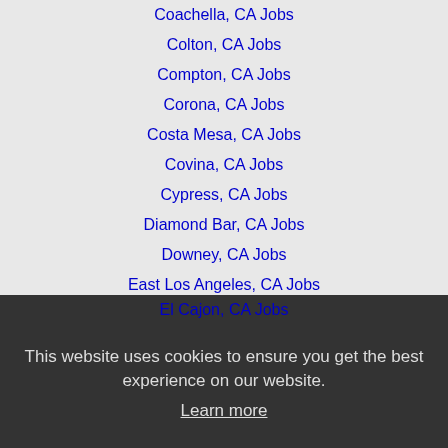Coachella, CA Jobs
Colton, CA Jobs
Compton, CA Jobs
Corona, CA Jobs
Costa Mesa, CA Jobs
Covina, CA Jobs
Cypress, CA Jobs
Diamond Bar, CA Jobs
Downey, CA Jobs
East Los Angeles, CA Jobs
El Cajon, CA Jobs
This website uses cookies to ensure you get the best experience on our website.
Learn more
Escondido, CA Jobs
Florence-Graham, CA Jobs
Fountain Valley, CA Jobs
Got it!
Fullerton, CA Jobs
Garden Grove, CA Jobs